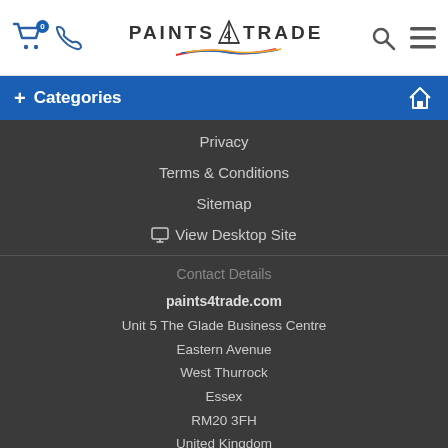PAINTS4TRADE — header with cart, phone, search and menu icons
+ Categories
Privacy
Terms & Conditions
Sitemap
View Desktop Site
Contact Details
paints4trade.com
Unit 5 The Glade Business Centre
Eastern Avenue
West Thurrock
Essex
RM20 3FH
United Kingdom
Call us on 0330 122 4771
sales@paints4trade.com
Social media icons: Facebook, Twitter, Pinterest, Share